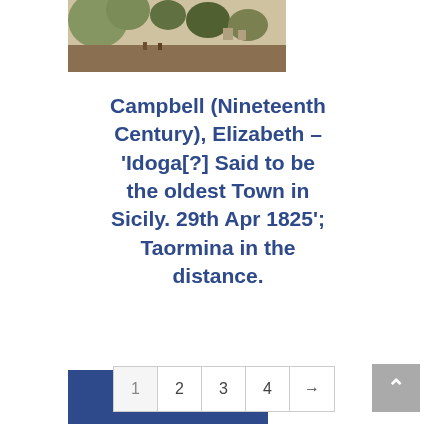[Figure (illustration): Partial view of a color landscape illustration showing a scenic outdoor scene with trees and figures, cropped at top.]
Campbell (Nineteenth Century), Elizabeth – ‘Idoga[?] Said to be the oldest Town in Sicily. 29th Apr 1825’; Taormina in the distance.
Read more
1 2 3 4 →